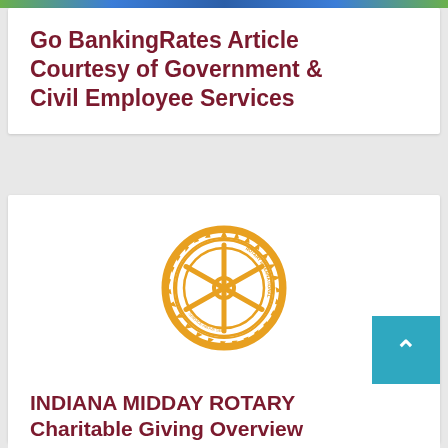[Figure (photo): Top image strip showing people, partially cropped]
Go BankingRates Article Courtesy of Government & Civil Employee Services
[Figure (logo): Rotary International gear/wheel logo in gold/orange color]
INDIANA MIDDAY ROTARY Charitable Giving Overview